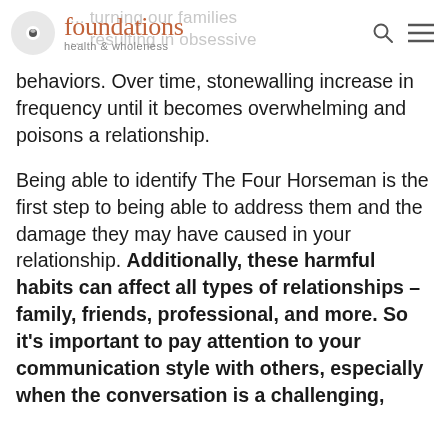foundations health & wholeness
behaviors. Over time, stonewalling increase in frequency until it becomes overwhelming and poisons a relationship.
Being able to identify The Four Horseman is the first step to being able to address them and the damage they may have caused in your relationship. Additionally, these harmful habits can affect all types of relationships – family, friends, professional, and more. So it's important to pay attention to your communication style with others, especially when the conversation is a challenging,